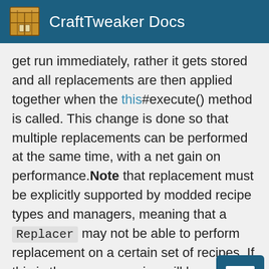CraftTweaker Docs
get run immediately, rather it gets stored and all replacements are then applied together when the this#execute() method is called. This change is done so that multiple replacements can be performed at the same time, with a net gain on performance. Note that replacement must be explicitly supported by modded recipe types and managers, meaning that a Replacer may not be able to perform replacement on a certain set of recipes. If this is the case a warning will be printed in the logs, so that you may review it.